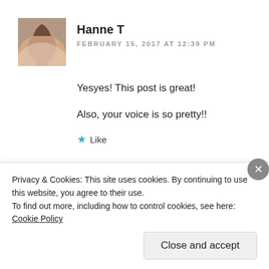[Figure (photo): Avatar photo of Hanne T, a woman with long dark hair]
Hanne T
FEBRUARY 15, 2017 AT 12:39 PM
Yesyes! This post is great!
Also, your voice is so pretty!!
★ Like
↩ Reply
Privacy & Cookies: This site uses cookies. By continuing to use this website, you agree to their use.
To find out more, including how to control cookies, see here: Cookie Policy
Close and accept